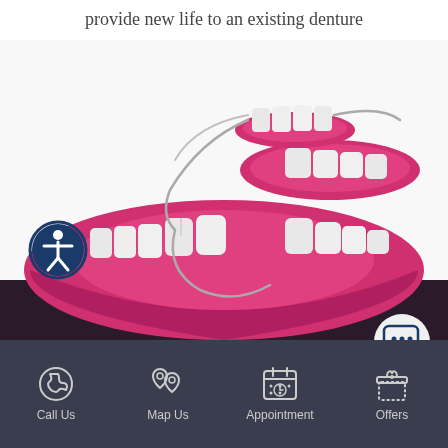provide new life to an existing denture
[Figure (illustration): 3D illustration of a partial denture with metal clasps being fitted onto a lower dental arch model, showing white teeth set in pink gum-colored base, with a removable partial denture piece shown being attached with wire clasps]
[Figure (logo): Accessibility icon: person in circle with dark blue border]
[Figure (logo): Chat bubble icon in rounded white/light grey circle]
Call Us  Map Us  Appointment  Offers